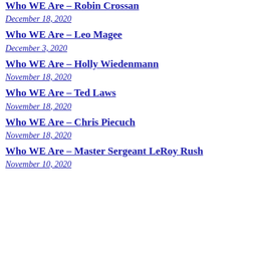Who WE Are – Robin Crossan
December 18, 2020
Who WE Are – Leo Magee
December 3, 2020
Who WE Are – Holly Wiedenmann
November 18, 2020
Who WE Are – Ted Laws
November 18, 2020
Who WE Are – Chris Piecuch
November 18, 2020
Who WE Are – Master Sergeant LeRoy Rush
November 10, 2020